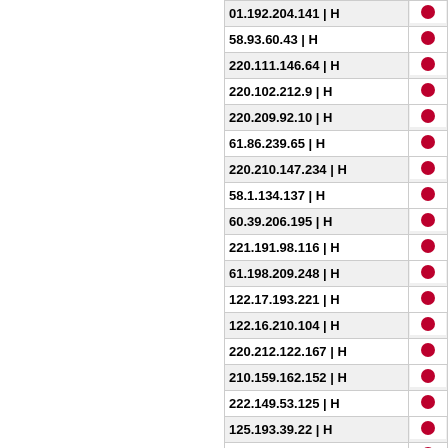| IP Address | Flag |
| --- | --- |
| 01.192.204.141 | H | Japan |
| 58.93.60.43 | H | Japan |
| 220.111.146.64 | H | Japan |
| 220.102.212.9 | H | Japan |
| 220.209.92.10 | H | Japan |
| 61.86.239.65 | H | Japan |
| 220.210.147.234 | H | Japan |
| 58.1.134.137 | H | Japan |
| 60.39.206.195 | H | Japan |
| 221.191.98.116 | H | Japan |
| 61.198.209.248 | H | Japan |
| 122.17.193.221 | H | Japan |
| 122.16.210.104 | H | Japan |
| 220.212.122.167 | H | Japan |
| 210.159.162.152 | H | Japan |
| 222.149.53.125 | H | Japan |
| 125.193.39.22 | H | Japan |
| 124.154.240.203 | H | Japan |
| 217.147.41.147 | H | Lithuania |
| 60.47.12.232 | H | Japan |
| 218.43.45.194 | H | Japan |
| 211.3.201.3 | H | Japan |
| 220.104.136.220 | H | Japan |
| 122.29.106.8 | H | Japan |
| 61.192.203.167 | H | Japan |
| 210.170.195.191 | H | Japan |
| 220.145.66.254 | H | Japan |